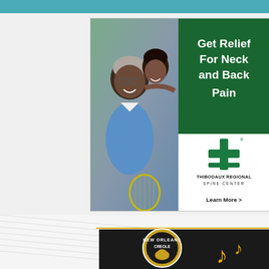[Figure (advertisement): Thibodaux Regional Spine Center advertisement. Left half shows photo of smiling couple (older man and younger woman, holding tennis racket). Right upper half has dark green background with white bold text: 'Get Relief For Neck and Back Pain'. Right lower half white with green cross medical logo, text 'THIBODAUX REGIONAL SPINE CENTER' and 'Learn More >']
[Figure (advertisement): New Orleans Creole advertisement showing partial logo with circular badge and musical notes on black background]